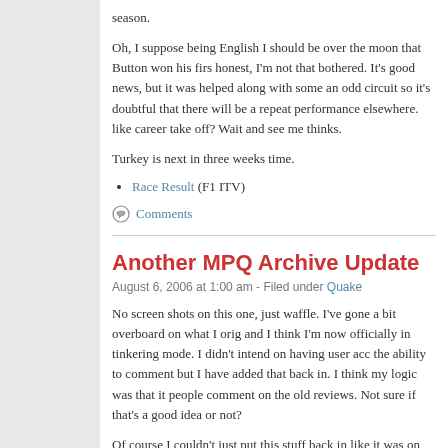season.
Oh, I suppose being English I should be over the moon that Button won his first... honest, I'm not that bothered. It's good news, but it was helped along with some... an odd circuit so it's doubtful that there will be a repeat performance elsewhere... like career take off? Wait and see me thinks.
Turkey is next in three weeks time.
Race Result (F1 ITV)
Comments
Another MPQ Archive Update
August 6, 2006 at 1:00 am - Filed under Quake
No screen shots on this one, just waffle. I've gone a bit overboard on what I orig... and I think I'm now officially in tinkering mode. I didn't intend on having user acc... the ability to comment but I have added that back in. I think my logic was that it... people comment on the old reviews. Not sure if that's a good idea or not?
Of course I couldn't just put this stuff back in like it was on the old MPQ. Comm... problem so I've used a combination of user accounts and CAPTCHA's to hopef... couldn't just put in a plain comment input, I've had to do a preview screen as we... have to do now. Also because I added user accounts I needed register, login, lo... screens... oh and a reset and email me password option.